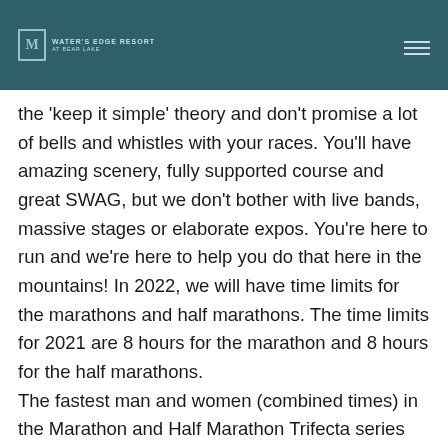Water's Edge Resort at Bear Lake
the 'keep it simple' theory and don't promise a lot of bells and whistles with your races. You'll have amazing scenery, fully supported course and great SWAG, but we don't bother with live bands, massive stages or elaborate expos. You're here to run and we're here to help you do that here in the mountains! In 2022, we will have time limits for the marathons and half marathons. The time limits for 2021 are 8 hours for the marathon and 8 hours for the half marathons.
The fastest man and women (combined times) in the Marathon and Half Marathon Trifecta series will receive a trophy like none other!